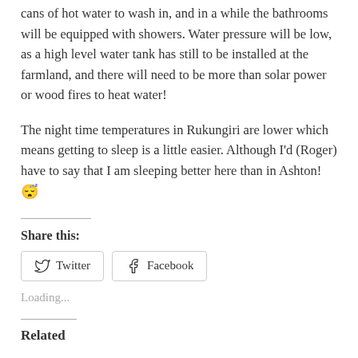cans of hot water to wash in, and in a while the bathrooms will be equipped with showers. Water pressure will be low, as a high level water tank has still to be installed at the farmland, and there will need to be more than solar power or wood fires to heat water!
The night time temperatures in Rukungiri are lower which means getting to sleep is a little easier. Although I’d (Roger) have to say that I am sleeping better here than in Ashton!😴
Share this:
Loading...
Related